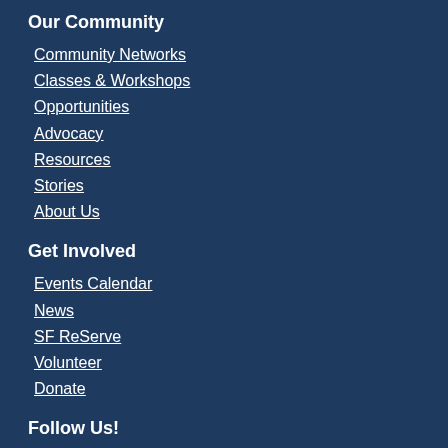Our Community
Community Networks
Classes & Workshops
Opportunities
Advocacy
Resources
Stories
About Us
Get Involved
Events Calendar
News
SF ReServe
Volunteer
Donate
Follow Us!